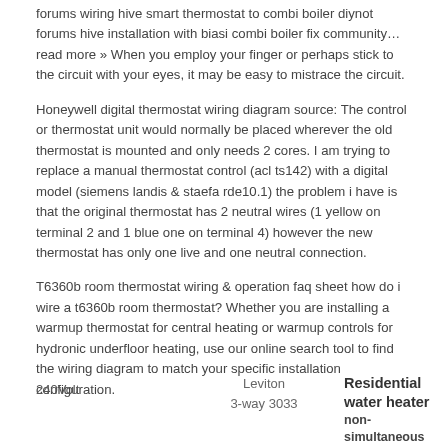forums wiring hive smart thermostat to combi boiler diynot forums hive installation with biasi combi boiler fix community… read more » When you employ your finger or perhaps stick to the circuit with your eyes, it may be easy to mistrace the circuit.
Honeywell digital thermostat wiring diagram source: The control or thermostat unit would normally be placed wherever the old thermostat is mounted and only needs 2 cores. I am trying to replace a manual thermostat control (acl ts142) with a digital model (siemens landis & staefa rde10.1) the problem i have is that the original thermostat has 2 neutral wires (1 yellow on terminal 2 and 1 blue one on terminal 4) however the new thermostat has only one live and one neutral connection.
T6360b room thermostat wiring & operation faq sheet how do i wire a t6360b room thermostat? Whether you are installing a warmup thermostat for central heating or warmup controls for hydronic underfloor heating, use our online search tool to find the wiring diagram to match your specific installation configuration.
240Volt
Leviton
3-way 3033
Residential water heater
non-simultaneous operation
No changes to water heater